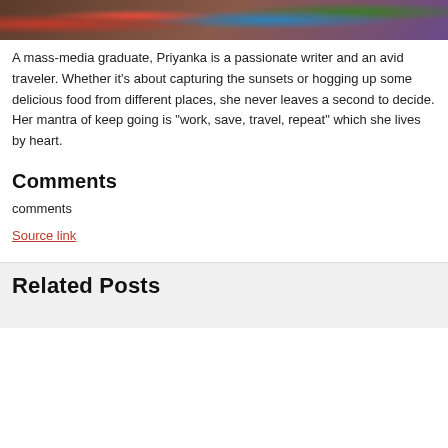[Figure (photo): Partial photo strip showing outdoor scene with red and blue colors, appears to be a cropped author photo]
A mass-media graduate, Priyanka is a passionate writer and an avid traveler. Whether it's about capturing the sunsets or hogging up some delicious food from different places, she never leaves a second to decide. Her mantra of keep going is “work, save, travel, repeat” which she lives by heart.
Comments
comments
Source link
Related Posts